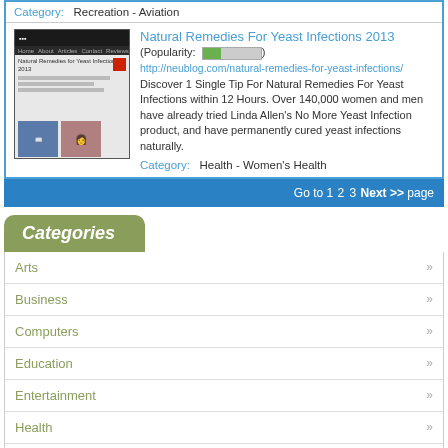Category: Recreation - Aviation
Natural Remedies For Yeast Infections 2013
(Popularity: [bar])
http://neublog.com/natural-remedies-for-yeast-infections/
Discover 1 Single Tip For Natural Remedies For Yeast Infections within 12 Hours. Over 140,000 women and men have already tried Linda Allen's No More Yeast Infection product, and have permanently cured yeast infections naturally.
Category: Health - Women's Health
Go to 1 2 3 Next >> page
Categories
Arts
Business
Computers
Education
Entertainment
Health
Home
Kids and Teens
News